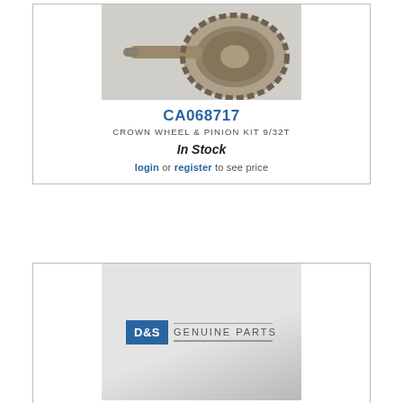[Figure (photo): Crown wheel and pinion gear set product photo on grey background]
CA068717
CROWN WHEEL & PINION KIT 9/32T
In Stock
login or register to see price
[Figure (logo): D&S Genuine Parts logo on grey gradient background]